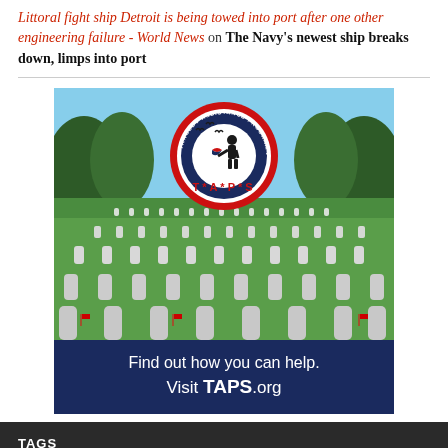Littoral fight ship Detroit is being towed into port after one other engineering failure - World News on The Navy's newest ship breaks down, limps into port
[Figure (logo): TAPS (Tragedy Assistance Program for Survivors) advertisement featuring a photo of a military cemetery with white headstones and trees, overlaid with the circular TAPS logo at the top. Below the photo is a dark navy blue banner reading 'Find out how you can help. Visit TAPS.org']
TAGS
aircraft carrier
annapolis
Atlantic
Aviation